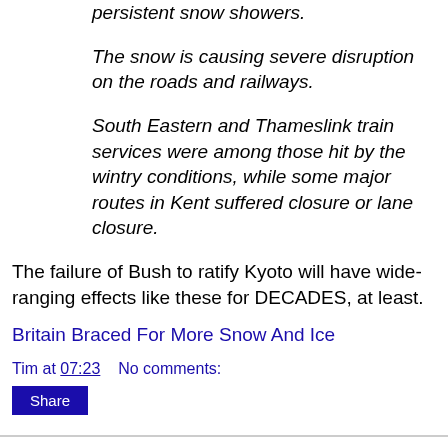persistent snow showers.
The snow is causing severe disruption on the roads and railways.
South Eastern and Thameslink train services were among those hit by the wintry conditions, while some major routes in Kent suffered closure or lane closure.
The failure of Bush to ratify Kyoto will have wide-ranging effects like these for DECADES, at least.
Britain Braced For More Snow And Ice
Tim at 07:23   No comments:
Share
Death to America! . . . But Keep Those Checks Coming